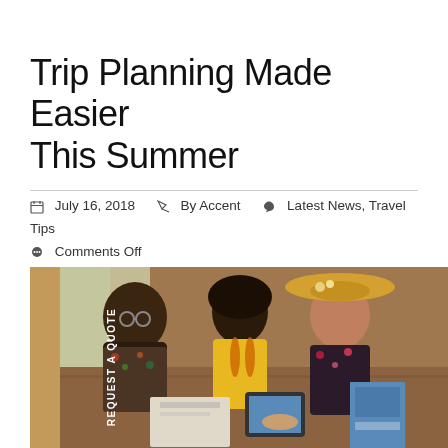Trip Planning Made Easier This Summer
July 16, 2018   By Accent   Latest News, Travel Tips   Comments Off
[Figure (photo): A family of three — a man in a floral shirt wearing glasses, a child with curly hair in a yellow shirt with a backpack, and a woman in a floral dress wearing a straw hat — sitting at a wooden table looking at travel brochures and a tablet. There is a tan/brown vertical sidebar tab on the left edge reading 'Request A Quote'.]